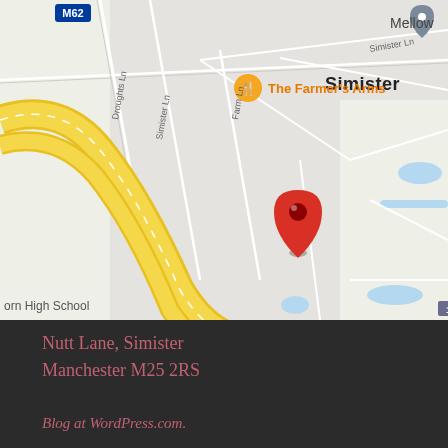[Figure (map): Google Maps screenshot showing Simister area near Manchester. Shows road M62, The Farmer's Arms pub marker in orange, Simister label, Droughts Ln, Simister Ln, Farm Ln street labels, a red location pin in the center, Parkwood cottages label with gray marker, and partial labels 'orn High School' and 'Mellow' at edges. Yellow motorway curves through lower left portion.]
Nutt Lane, Simister
Manchester M25 2RS
Blog at WordPress.com.